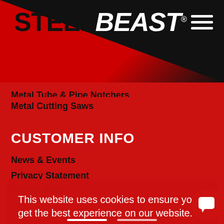[Figure (logo): SteelBeast logo in black and white italic text on red diagonal background with hamburger menu icon]
Metal Tube & Pipe Notchers
Metal Cutting Saws
CUSTOMER INFO
News & Events
Privacy Statement
This website uses cookies to ensure you get the best experience on our website.
Learn more
Got it!